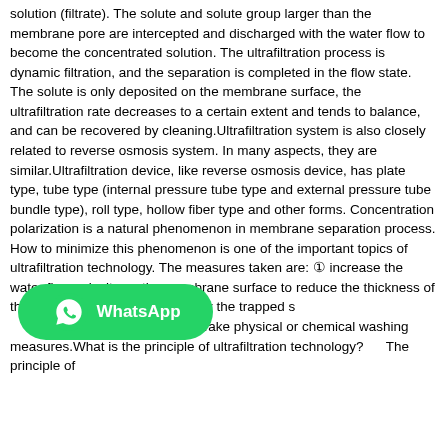solution (filtrate). The solute and solute group larger than the membrane pore are intercepted and discharged with the water flow to become the concentrated solution. The ultrafiltration process is dynamic filtration, and the separation is completed in the flow state. The solute is only deposited on the membrane surface, the ultrafiltration rate decreases to a certain extent and tends to balance, and can be recovered by cleaning.Ultrafiltration system is also closely related to reverse osmosis system. In many aspects, they are similar.Ultrafiltration device, like reverse osmosis device, has plate type, tube type (internal pressure tube type and external pressure tube bundle type), roll type, hollow fiber type and other forms. Concentration polarization is a natural phenomenon in membrane separation process. How to minimize this phenomenon is one of the important topics of ultrafiltration technology. The measures taken are: ① increase the water flow velocity on the membrane surface to reduce the thickness of the boundary layer and take away the trapped s… ② Take physical or chemical washing measures.What is the principle of ultrafiltration technology?      The principle of
[Figure (logo): WhatsApp logo badge — green rounded rectangle with WhatsApp phone icon and text 'WhatsApp']